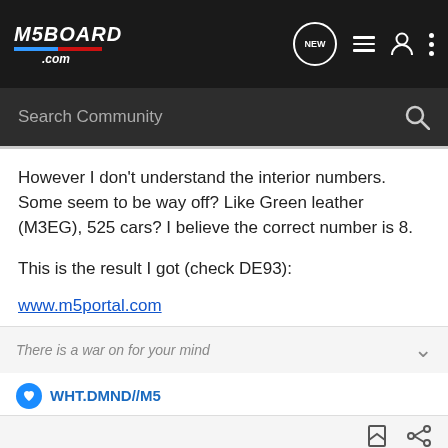M5BOARD.COM
However I don't understand the interior numbers. Some seem to be way off? Like Green leather (M3EG), 525 cars? I believe the correct number is 8.
This is the result I got (check DE93):
www.m5portal.com
There is a war on for your mind
WHT.DMND//M5